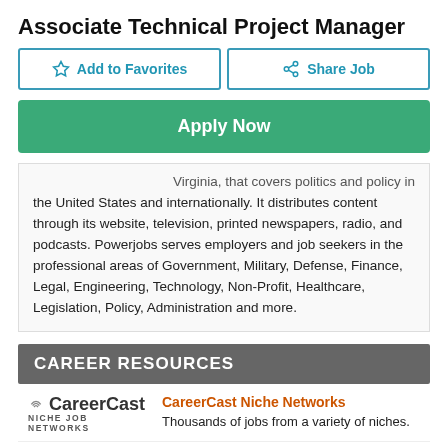Associate Technical Project Manager
Add to Favorites | Share Job
Apply Now
Virginia, that covers politics and policy in the United States and internationally. It distributes content through its website, television, printed newspapers, radio, and podcasts. Powerjobs serves employers and job seekers in the professional areas of Government, Military, Defense, Finance, Legal, Engineering, Technology, Non-Profit, Healthcare, Legislation, Policy, Administration and more.
CAREER RESOURCES
CareerCast Niche Networks
Thousands of jobs from a variety of niches.
The Best Jobs and How to